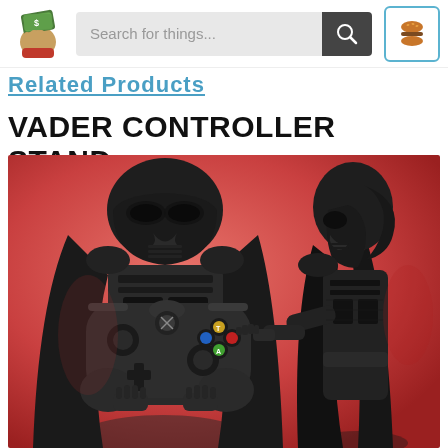[Figure (screenshot): Website header with a logo (hand holding cash), a search bar reading 'Search for things...', a search button with magnifying glass icon, and a hamburger menu button with blue border]
Related Products
VADER CONTROLLER STAND
[Figure (photo): Product photo showing two Darth Vader figurine controller stands on a red/pink background. The left figure is holding an Xbox One controller up in front of its face. The right figure is shown from the side with hands extended forward.]